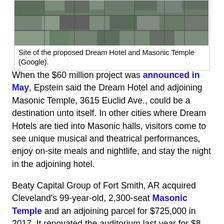[Figure (photo): Aerial satellite view of the site of the proposed Dream Hotel and Masonic Temple at 3615 Euclid Ave, Cleveland]
Site of the proposed Dream Hotel and Masonic Temple (Google).
When the $60 million project was announced in May, Epstein said the Dream Hotel and adjoining Masonic Temple, 3615 Euclid Ave., could be a destination unto itself. In other cities where Dream Hotels are tied into Masonic halls, visitors come to see unique musical and theatrical performances, enjoy on-site meals and nightlife, and stay the night in the adjoining hotel.
Beaty Capital Group of Fort Smith, AR acquired Cleveland's 99-year-old, 2,300-seat Masonic Temple and an adjoining parcel for $725,000 in 2017. It renovated the auditorium last year for $8 million and plans another $10 million worth of improvements. That activity attracted attention.
Epstein said real estate investors began proposing projects in the surrounding area, although he could not identify the projects several months ago because they were in early